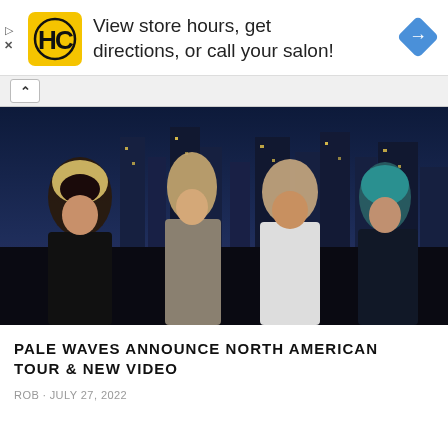[Figure (infographic): Advertisement banner for HC (Hair Club) with yellow square logo showing HC letters, text reading 'View store hours, get directions, or call your salon!' and a blue diamond-shaped navigation arrow icon on the right. Small play and close (X) controls on the lower left.]
[Figure (photo): Four members of the band Pale Waves standing in front of a nighttime city skyline. Left to right: a woman with short blonde wavy hair wearing a black vest; a tall person with light brown hair wearing a grey unbuttoned shirt; a stocky person in a white tank top; and a person with teal/blue hair wearing a black blazer. The background shows illuminated skyscraper buildings at dusk.]
PALE WAVES ANNOUNCE NORTH AMERICAN TOUR & NEW VIDEO
ROB · JULY 27, 2022